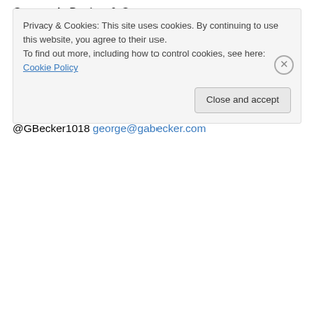George A. Becker & Co. [logo/symbol]
USA Office[symbol]: 23802 Duffield Road Cleveland, OH 44122-3111 216.921.6454 (p) 216.921.6553 (f) 216.533.3622 (m)
China Office[symbol]: Room 701-706, Shukong Building No. 599 Huanghe Road Dalian, P.R. China 86.0411.846.18019 (p) 86.0411.846.18029 (f) 13898643212 (m)
@GBecker1018 george@gabecker.com
Privacy & Cookies: This site uses cookies. By continuing to use this website, you agree to their use.
To find out more, including how to control cookies, see here: Cookie Policy
Close and accept